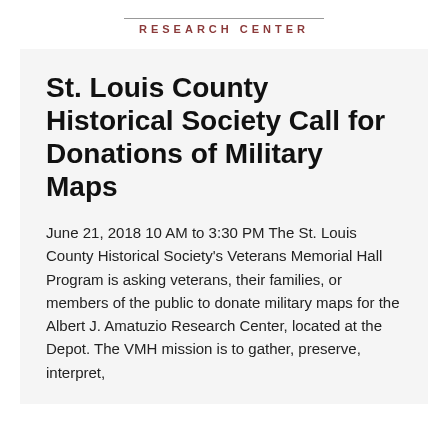RESEARCH CENTER
St. Louis County Historical Society Call for Donations of Military Maps
June 21, 2018 10 AM to 3:30 PM The St. Louis County Historical Society's Veterans Memorial Hall Program is asking veterans, their families, or members of the public to donate military maps for the Albert J. Amatuzio Research Center, located at the Depot. The VMH mission is to gather, preserve, interpret,